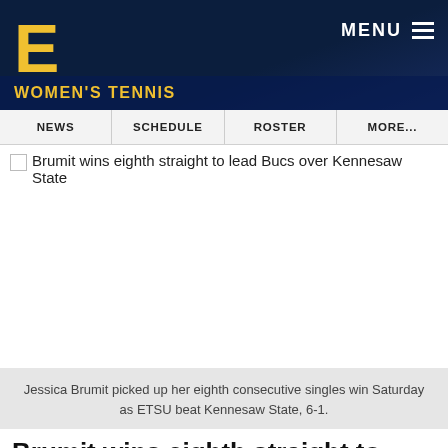[Figure (logo): ETSU logo with gold E on dark navy background and WOMEN'S TENNIS section label]
MENU
WOMEN'S TENNIS
NEWS | SCHEDULE | ROSTER | MORE...
Brumit wins eighth straight to lead Bucs over Kennesaw State
[Figure (photo): Photo of Jessica Brumit playing tennis (image area appears blank/white in screenshot)]
Jessica Brumit picked up her eighth consecutive singles win Saturday as ETSU beat Kennesaw State, 6-1.
Brumit wins eighth straight to lead Bucs over Kennesaw